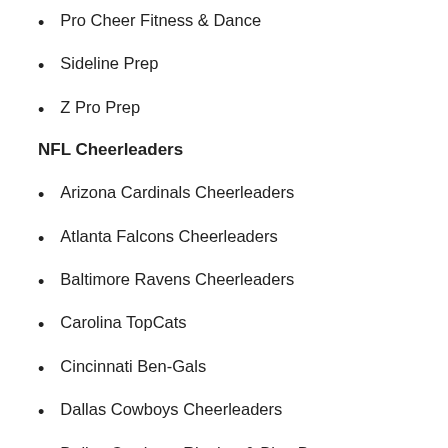Pro Cheer Fitness & Dance
Sideline Prep
Z Pro Prep
NFL Cheerleaders
Arizona Cardinals Cheerleaders
Atlanta Falcons Cheerleaders
Baltimore Ravens Cheerleaders
Carolina TopCats
Cincinnati Ben-Gals
Dallas Cowboys Cheerleaders
Dallas Cowboys Rhythm & Blue Dancers